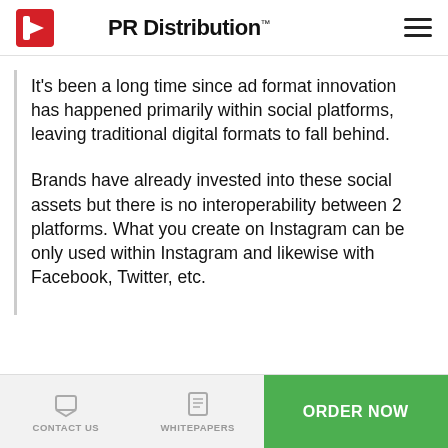PR Distribution™
It's been a long time since ad format innovation has happened primarily within social platforms, leaving traditional digital formats to fall behind.
Brands have already invested into these social assets but there is no interoperability between 2 platforms. What you create on Instagram can be only used within Instagram and likewise with Facebook, Twitter, etc.
CONTACT US  WHITEPAPERS  ORDER NOW